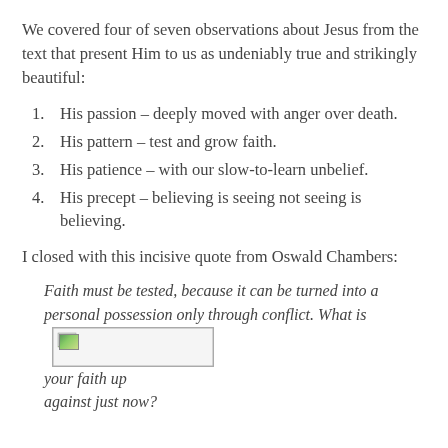We covered four of seven observations about Jesus from the text that present Him to us as undeniably true and strikingly beautiful:
1. His passion – deeply moved with anger over death.
2. His pattern – test and grow faith.
3. His patience – with our slow-to-learn unbelief.
4. His precept – believing is seeing not seeing is believing.
I closed with this incisive quote from Oswald Chambers:
Faith must be tested, because it can be turned into a personal possession only through conflict. What is your faith up against just now?